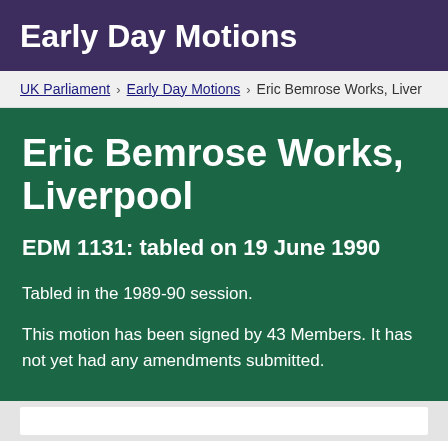Early Day Motions
UK Parliament › Early Day Motions › Eric Bemrose Works, Liver
Eric Bemrose Works, Liverpool
EDM 1131: tabled on 19 June 1990
Tabled in the 1989-90 session.
This motion has been signed by 43 Members. It has not yet had any amendments submitted.